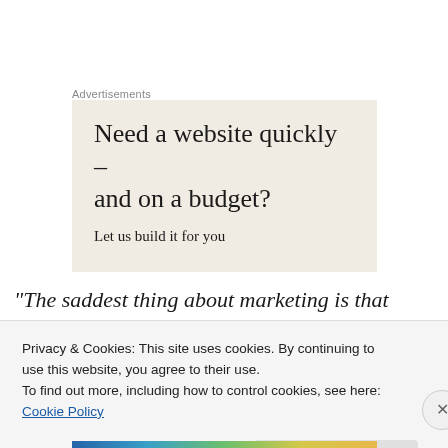Advertisements
[Figure (other): Advertisement box with beige background. Headline: 'Need a website quickly – and on a budget?' Subtext: 'Let us build it for you']
“The saddest thing about marketing is that when faced with people with numbers marketers tend to go ‘stop it, ooh these people have spreadsheets, they must be
Privacy & Cookies: This site uses cookies. By continuing to use this website, you agree to their use.
To find out more, including how to control cookies, see here: Cookie Policy
Close and accept